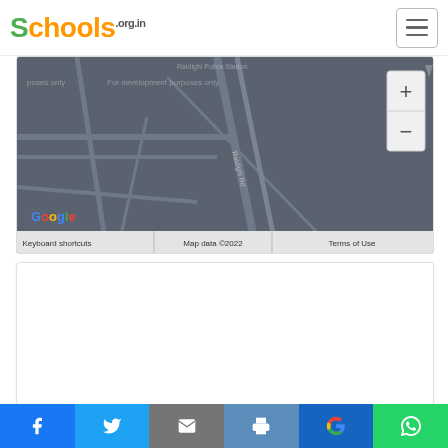Schools.org.in
[Figure (map): Google Maps embed showing Raidighi Police Station area with roads, development purposes watermark, zoom controls, Google logo, and map controls bar showing Keyboard shortcuts, Map data ©2022, Terms of Use]
[Figure (other): White empty card/advertisement area below the map]
Social share bar: Facebook, Twitter, Email, Print, Google, WhatsApp